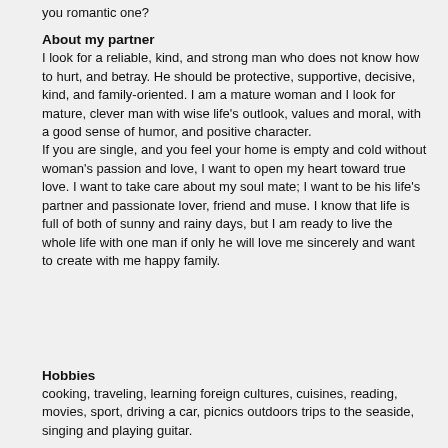you romantic one?
About my partner
I look for a reliable, kind, and strong man who does not know how to hurt, and betray. He should be protective, supportive, decisive, kind, and family-oriented. I am a mature woman and I look for mature, clever man with wise life's outlook, values and moral, with a good sense of humor, and positive character.
If you are single, and you feel your home is empty and cold without woman's passion and love, I want to open my heart toward true love. I want to take care about my soul mate; I want to be his life's partner and passionate lover, friend and muse. I know that life is full of both of sunny and rainy days, but I am ready to live the whole life with one man if only he will love me sincerely and want to create with me happy family.
Hobbies
cooking, traveling, learning foreign cultures, cuisines, reading, movies, sport, driving a car, picnics outdoors trips to the seaside, singing and playing guitar.